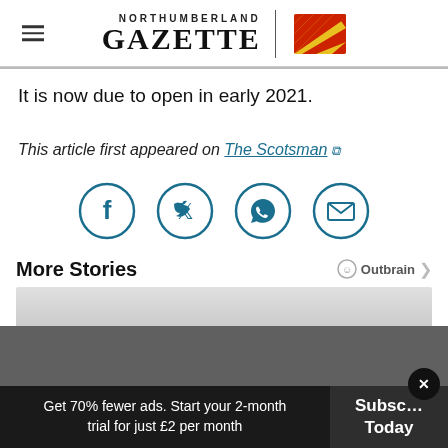NORTHUMBERLAND GAZETTE
It is now due to open in early 2021.
This article first appeared on The Scotsman
[Figure (other): Social sharing icons: Facebook, Twitter, WhatsApp, Email]
More Stories
[Figure (other): Outbrain recommended stories card area (grey placeholder)]
Get 70% fewer ads. Start your 2-month trial for just £2 per month
Subscribe Today